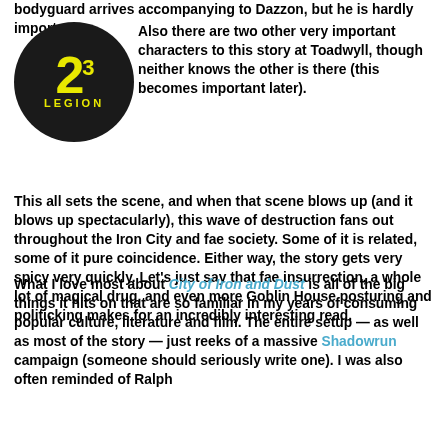bodyguard arrives accompanying to Dazzon, but he is hardly important.
[Figure (logo): 23rd Legion circular logo with yellow number 23 and text LEGION on black background]
Also there are two other very important characters to this story at Toadwyll, though neither knows the other is there (this becomes important later).
This all sets the scene, and when that scene blows up (and it blows up spectacularly), this wave of destruction fans out throughout the Iron City and fae society. Some of it is related, some of it pure coincidence. Either way, the story gets very spicy very quickly. Let’s just say that fae insurrection, a whole lot of magical drug, and even more Goblin House posturing and politicking makes for an incredibly interesting read.
What I love most about City of Iron and Dust is all of the big things it hits on that are so familiar in my years of consuming popular culture, literature and film. The entire setup — as well as most of the story — just reeks of a massive Shadowrun campaign (someone should seriously write one). I was also often reminded of Ralph Ellison’s Invisible Man, of Terry Gilliam’s Brazil, a lot of